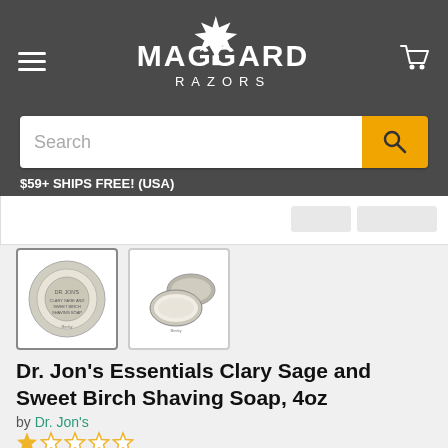Maggard Razors
Search
$59+ SHIPS FREE! (USA)
- Shop by Brand -
[Figure (photo): Two thumbnail images of Dr. Jon's Essentials Clary Sage and Sweet Birch Shaving Soap tin — one showing the top of the tin, one showing the tin open]
Dr. Jon's Essentials Clary Sage and Sweet Birch Shaving Soap, 4oz
by Dr. Jon's
★★★★★ (empty stars rating)
$20.00